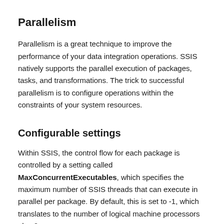Parallelism
Parallelism is a great technique to improve the performance of your data integration operations. SSIS natively supports the parallel execution of packages, tasks, and transformations. The trick to successful parallelism is to configure operations within the constraints of your system resources.
Configurable settings
Within SSIS, the control flow for each package is controlled by a setting called MaxConcurrentExecutables, which specifies the maximum number of SSIS threads that can execute in parallel per package. By default, this is set to -1, which translates to the number of logical machine processors plus 2.